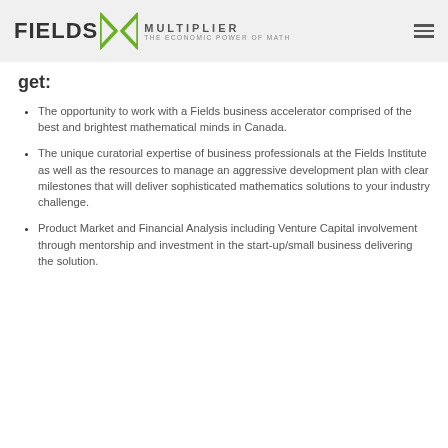FIELDS MULTIPLIER THE ECONOMIC POWER OF MATH
get:
The opportunity to work with a Fields business accelerator comprised of the best and brightest mathematical minds in Canada.
The unique curatorial expertise of business professionals at the Fields Institute as well as the resources to manage an aggressive development plan with clear milestones that will deliver sophisticated mathematics solutions to your industry challenge.
Product Market and Financial Analysis including Venture Capital involvement through mentorship and investment in the start-up/small business delivering the solution.